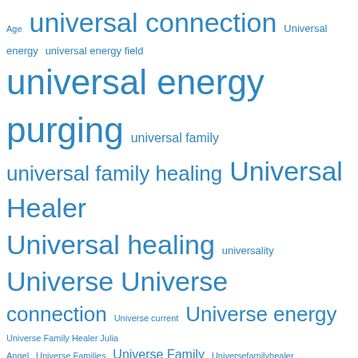[Figure (infographic): Tag cloud / word cloud with terms related to universal healing, universe, and family healing. All terms are in shades of blue. Larger terms appear more frequently or are more prominent: 'Universe Family Healing' is the largest, followed by 'universal connection', 'universal energy purging', 'Universal Healer', 'Universal healing', 'Universe', 'Universe Family Healer', 'Universe Healing', 'Universe Time', 'Universe mates'. Smaller terms include Age, Universe current, Universe Families, Universe Family, Universefamilyhealer, Universe Family Healers, universe journeys, Universe Mate, Universe Parallel, Universe Talk, Universe Time Transition, Universe Transition, Universe Transition Time, Univers Family Healer, unsafe high school, Unverse Time, Urge to purge, violent behavior during healing/purging, War, weight, universality, universal family, universal family healing, Universe energy, Universe Family Healer Julia Angel.]